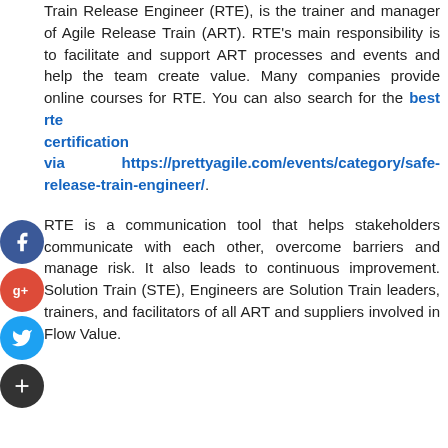Train Release Engineer (RTE), is the trainer and manager of Agile Release Train (ART). RTE's main responsibility is to facilitate and support ART processes and events and help the team create value. Many companies provide online courses for RTE. You can also search for the best rte certification via https://prettyagile.com/events/category/safe-release-train-engineer/.
RTE is a communication tool that helps stakeholders communicate with each other, overcome barriers and manage risk. It also leads to continuous improvement. Solution Train (STE), Engineers are Solution Train leaders, trainers, and facilitators of all ART and suppliers involved in Flow Value.